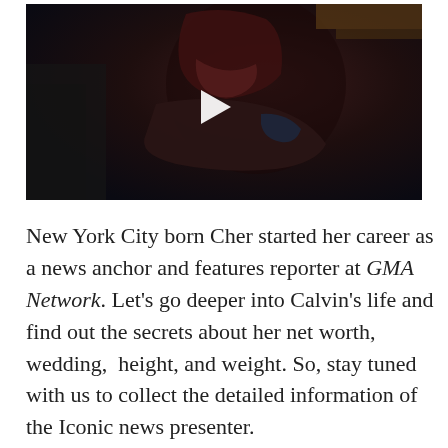[Figure (screenshot): A dark video thumbnail showing a person in a superhero costume (dark red/maroon armor with a helmet). A white play button triangle is centered over the image.]
New York City born Cher started her career as a news anchor and features reporter at GMA Network. Let's go deeper into Calvin's life and find out the secrets about her net worth, wedding,  height, and weight. So, stay tuned with us to collect the detailed information of the Iconic news presenter.